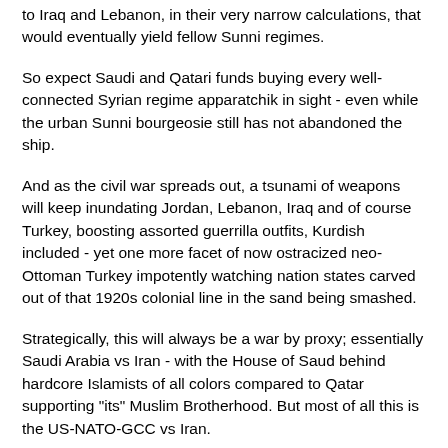to Iraq and Lebanon, in their very narrow calculations, that would eventually yield fellow Sunni regimes.
So expect Saudi and Qatari funds buying every well-connected Syrian regime apparatchik in sight - even while the urban Sunni bourgeosie still has not abandoned the ship.
And as the civil war spreads out, a tsunami of weapons will keep inundating Jordan, Lebanon, Iraq and of course Turkey, boosting assorted guerrilla outfits, Kurdish included - yet one more facet of now ostracized neo-Ottoman Turkey impotently watching nation states carved out of that 1920s colonial line in the sand being smashed.
Strategically, this will always be a war by proxy; essentially Saudi Arabia vs Iran - with the House of Saud behind hardcore Islamists of all colors compared to Qatar supporting "its" Muslim Brotherhood. But most of all this is the US-NATO-GCC vs Iran.
Israel's motives go way beyond the Saudi/Qatari sectarian lust. Israel's Prime Minister Bibi Netanyahu has just